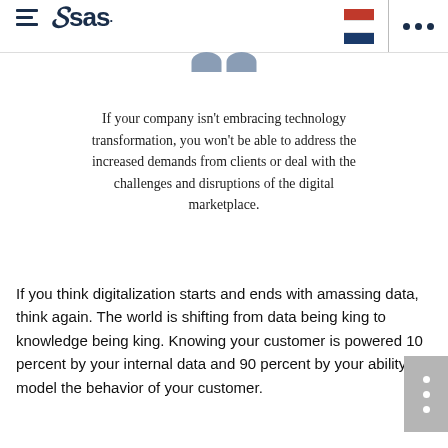SAS logo header with hamburger menu, Netherlands flag, and dots menu
[Figure (illustration): Partial view of an avatar/person icon at the top center of the page]
If your company isn't embracing technology transformation, you won't be able to address the increased demands from clients or deal with the challenges and disruptions of the digital marketplace.
If you think digitalization starts and ends with amassing data, think again. The world is shifting from data being king to knowledge being king. Knowing your customer is powered 10 percent by your internal data and 90 percent by your ability to model the behavior of your customer.